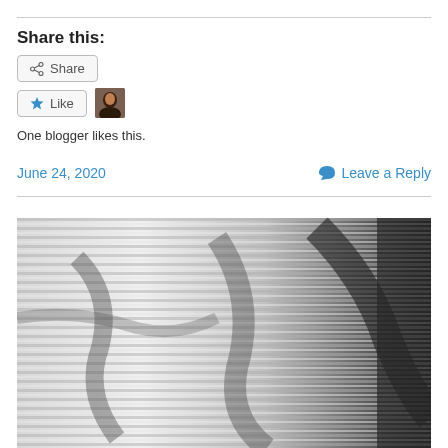Share this:
[Figure (illustration): Share button widget with share icon]
[Figure (illustration): Like button with star icon and blogger avatar thumbnail]
One blogger likes this.
June 24, 2020
Leave a Reply
[Figure (photo): Black and white photograph of crumpled or folded metallic/reflective material with horizontal ridged texture]